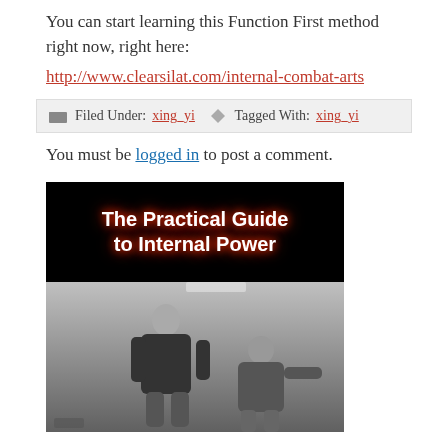You can start learning this Function First method right now, right here:
http://www.clearsilat.com/internal-combat-arts
Filed Under: xing_yi  Tagged With: xing_yi
You must be logged in to post a comment.
[Figure (photo): Book cover image showing 'The Practical Guide to Internal Power' text on black background with glowing red-white lettering, and below it a photo of a man in black shirt performing a martial arts technique on another person in a gym setting.]